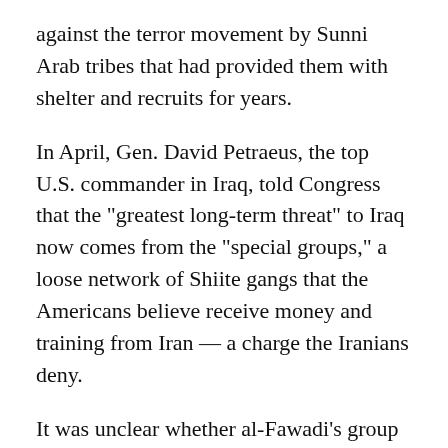against the terror movement by Sunni Arab tribes that had provided them with shelter and recruits for years.
In April, Gen. David Petraeus, the top U.S. commander in Iraq, told Congress that the "greatest long-term threat" to Iraq now comes from the "special groups," a loose network of Shiite gangs that the Americans believe receive money and training from Iran — a charge the Iranians deny.
It was unclear whether al-Fawadi's group receives Iranian support, and U.S. officials made no mention of an Iranian connection to Tuesday's bombing.